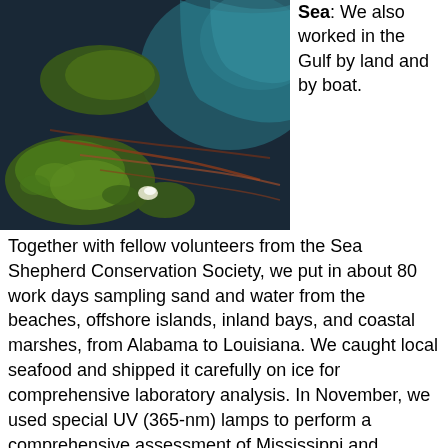[Figure (photo): Aerial photograph of a coastal area showing green marsh islands and dark water with oil contamination visible as reddish-brown streaks along the shoreline, with teal-colored clearer water in the upper right.]
and Sea: We also worked in the Gulf by land and by boat.
Together with fellow volunteers from the Sea Shepherd Conservation Society, we put in about 80 work days sampling sand and water from the beaches, offshore islands, inland bays, and coastal marshes, from Alabama to Louisiana. We caught local seafood and shipped it carefully on ice for comprehensive laboratory analysis. In November, we used special UV (365-nm) lamps to perform a comprehensive assessment of Mississippi and Louisiana beaches for contamination from oil and dispersant. Final laboratory results were made available in early 2011. We continue to